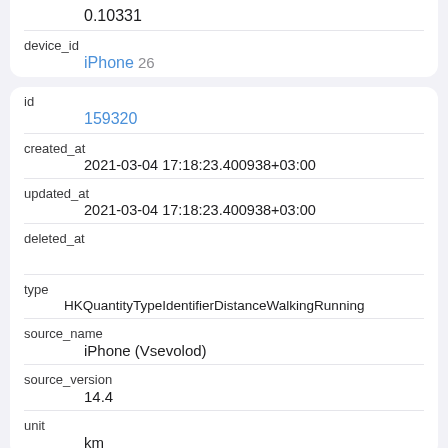| 0.10331 |
| device_id | iPhone 26 |
| id | 159320 |
| created_at | 2021-03-04 17:18:23.400938+03:00 |
| updated_at | 2021-03-04 17:18:23.400938+03:00 |
| deleted_at |  |
| type | HKQuantityTypeIdentifierDistanceWalkingRunning |
| source_name | iPhone (Vsevolod) |
| source_version | 14.4 |
| unit | km |